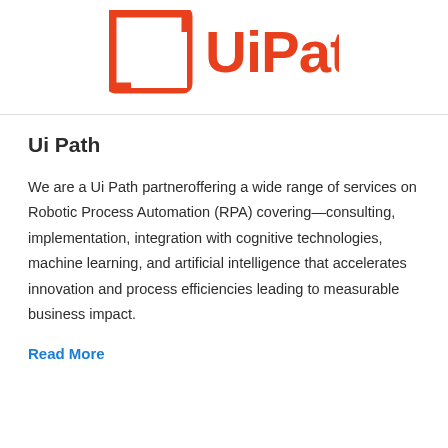[Figure (logo): UiPath logo in orange/red color with bracket symbol on the left and 'UiPath' text on the right]
Ui Path
We are a Ui Path partneroffering a wide range of services on Robotic Process Automation (RPA) covering—consulting, implementation, integration with cognitive technologies, machine learning, and artificial intelligence that accelerates innovation and process efficiencies leading to measurable business impact.
Read More